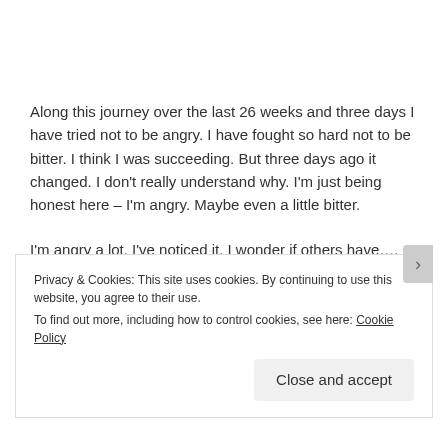Along this journey over the last 26 weeks and three days I have tried not to be angry. I have fought so hard not to be bitter. I think I was succeeding. But three days ago it changed. I don't really understand why. I'm just being honest here – I'm angry. Maybe even a little bitter.
I'm angry a lot. I've noticed it. I wonder if others have…. It's not that I don't want to talk about babies or to look at them or to see my friends' kids or pregnancy announcements on
Privacy & Cookies: This site uses cookies. By continuing to use this website, you agree to their use.
To find out more, including how to control cookies, see here: Cookie Policy
Close and accept